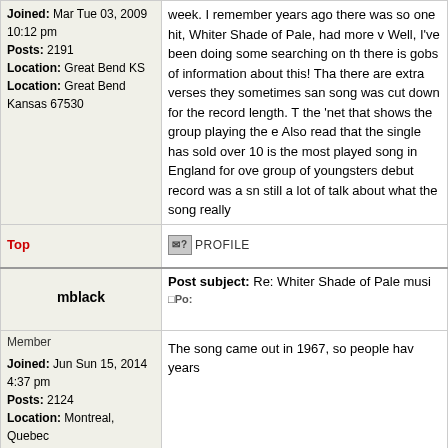Joined: Mar Tue 03, 2009 10:12 pm
Posts: 2191
Location: Great Bend KS
Location: Great Bend Kansas 67530
week. I remember years ago there was so one hit, Whiter Shade of Pale, had more v Well, I've been doing some searching on th there is gobs of information about this! Tha there are extra verses they sometimes san song was cut down for the record length. T the 'net that shows the group playing the e Also read that the single has sold over 10 is the most played song in England for ove group of youngsters debut record was a sn still a lot of talk about what the song really
Top
PROFILE
mblack
Post subject: Re: Whiter Shade of Pale musi □Po:
Member
The song came out in 1967, so people hav years
Joined: Jun Sun 15, 2014 4:37 pm
Posts: 2124
Location: Montreal, Quebec
Top
PROFILE
mrx
Post subject: Re: Whiter Shade of Pale musi □Po:
Member
That song was used in lots of movies, but